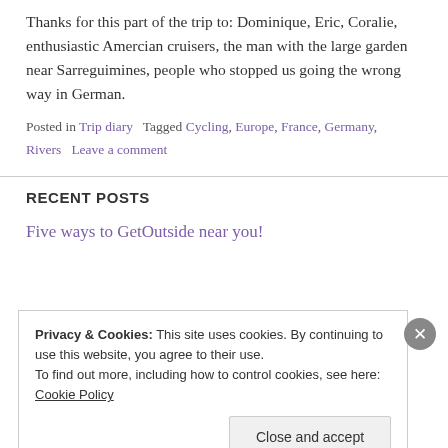Thanks for this part of the trip to: Dominique, Eric, Coralie, enthusiastic Amercian cruisers, the man with the large garden near Sarreguimines, people who stopped us going the wrong way in German.
Posted in Trip diary   Tagged Cycling, Europe, France, Germany, Rivers   Leave a comment
RECENT POSTS
Five ways to GetOutside near you!
Privacy & Cookies: This site uses cookies. By continuing to use this website, you agree to their use. To find out more, including how to control cookies, see here: Cookie Policy
Close and accept